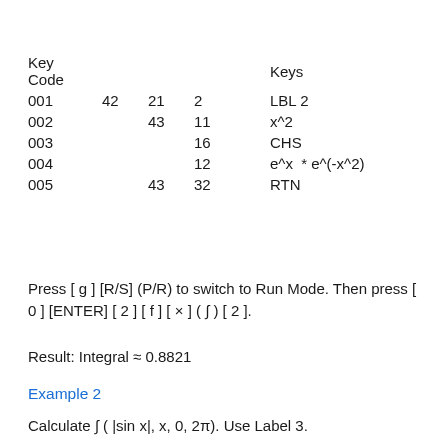| Key Code |  |  |  | Keys |
| --- | --- | --- | --- | --- |
| 001 | 42 | 21 | 2 | LBL 2 |
| 002 |  | 43 | 11 | x^2 |
| 003 |  |  | 16 | CHS |
| 004 |  |  | 12 | e^x  * e^(-x^2) |
| 005 |  | 43 | 32 | RTN |
Press [ g ] [R/S] (P/R) to switch to Run Mode. Then press [ 0 ] [ENTER] [ 2 ] [ f ] [ × ] ( ∫ ) [ 2 ].
Result: Integral ≈ 0.8821
Example 2
Calculate ∫ ( |sin x|, x, 0, 2π). Use Label 3.